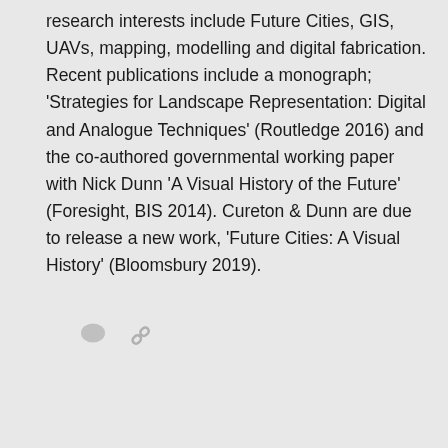research interests include Future Cities, GIS, UAVs, mapping, modelling and digital fabrication. Recent publications include a monograph; 'Strategies for Landscape Representation: Digital and Analogue Techniques' (Routledge 2016) and the co-authored governmental working paper with Nick Dunn 'A Visual History of the Future' (Foresight, BIS 2014). Cureton & Dunn are due to release a new work, 'Future Cities: A Visual History' (Bloomsbury 2019).
[Figure (other): Two small social/action icons: a speech bubble icon and a chain/link icon, in light gray color]